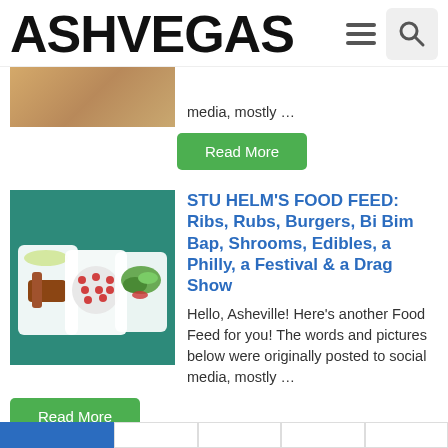ASHVEGAS
media, mostly …
Read More
STU HELM'S FOOD FEED: Ribs, Rubs, Burgers, Bi Bim Bap, Shrooms, Edibles, a Philly, a Festival & a Drag Show
Hello, Asheville! Here's another Food Feed for you! The words and pictures below were originally posted to social media, mostly …
Read More